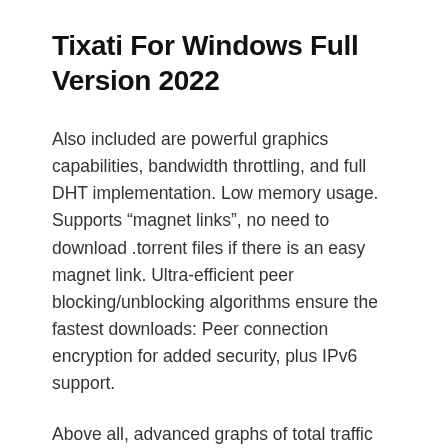Tixati For Windows Full Version 2022
Also included are powerful graphics capabilities, bandwidth throttling, and full DHT implementation. Low memory usage. Supports “magnet links”, no need to download .torrent files if there is an easy magnet link. Ultra-efficient peer blocking/unblocking algorithms ensure the fastest downloads: Peer connection encryption for added security, plus IPv6 support.
Above all, advanced graphs of total traffic and bandwidth per transfer with separate classification of protocol and file bytes and with separate classification of outgoing traffic for circulation and seed. The new version allows you to customize the